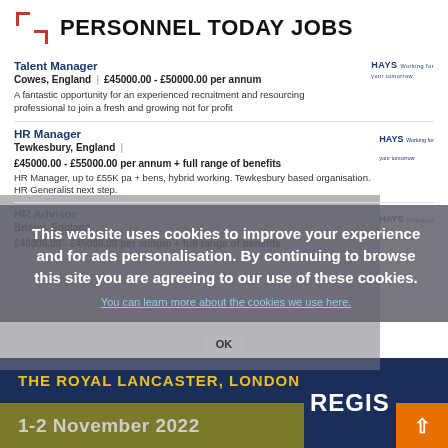[Figure (logo): Personnel Today Jobs logo with orange bracket icon and bold text]
PERSONNEL TODAY JOBS
Talent Manager
Cowes, England | £45000.00 - £50000.00 per annum
A fantastic opportunity for an experienced recruitment and resourcing professional to join a fresh and growing not for profit
HR Manager
Tewkesbury, England | £45000.00 - £55000.00 per annum + full range of benefits
HR Manager, up to £55K pa + bens, hybrid working. Tewkesbury based organisation. HR Generalist next step.
HR Advisor
Bristol, England | £40000.00 - £45000.00 per annum + full range of benefits
This website uses cookies to improve your experience and for ads personalisation. By continuing to browse this site you are agreeing to our use of these cookies. You can learn more about the cookies we use here.
1-2 November 2022
THE ROYAL LANCASTER, LONDON
REGIS